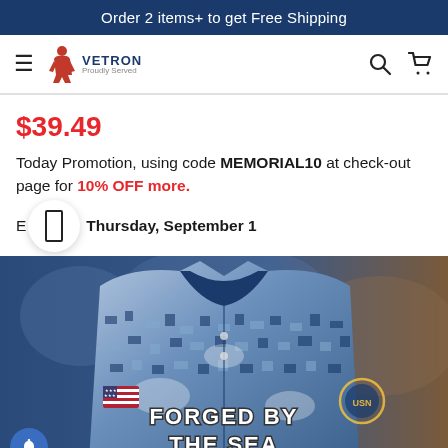Order 2 items+ to get Free Shipping
[Figure (logo): Vetron brand logo with soldier silhouette and VETRON text]
$39.49
Today Promotion, using code MEMORIAL10 at check-out page for 10% OFF more.
Expires: Thursday, September 1
[Figure (photo): Military-style polo shirt with blue digital camouflage pattern, American flag patch on sleeve, and 'FORGED BY THE SEA' text on chest]